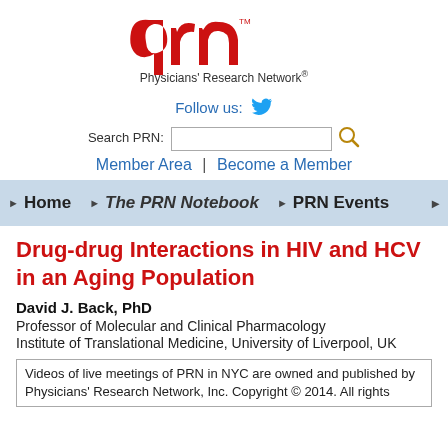[Figure (logo): PRN Physicians' Research Network logo with red stylized 'prn' text and trademark symbol]
Follow us:  [Twitter bird icon]
Search PRN: [search input] [magnifying glass icon]
Member Area | Become a Member
Home  ▶  The PRN Notebook  ▶  PRN Events  ▶
Drug-drug Interactions in HIV and HCV in an Aging Population
David J. Back, PhD
Professor of Molecular and Clinical Pharmacology
Institute of Translational Medicine, University of Liverpool, UK
Videos of live meetings of PRN in NYC are owned and published by Physicians' Research Network, Inc. Copyright © 2014. All rights